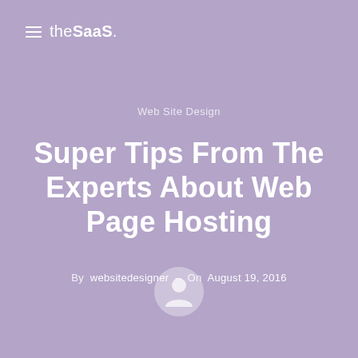the SaaS.
Web Site Design
Super Tips From The Experts About Web Page Hosting
By websitedesigner – On August 19, 2016
[Figure (illustration): Avatar/user profile icon circle]